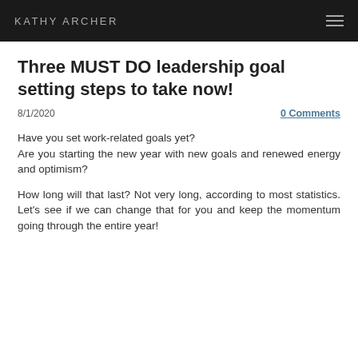KATHY ARCHER
Three MUST DO leadership goal setting steps to take now!
8/1/2020    0 Comments
Have you set work-related goals yet?
Are you starting the new year with new goals and renewed energy and optimism?
How long will that last? Not very long, according to most statistics. Let's see if we can change that for you and keep the momentum going through the entire year!